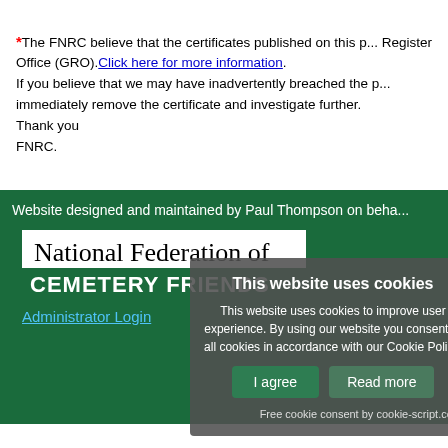*The FNRC believe that the certificates published on this page were obtained from the General Register Office (GRO). Click here for more information. If you believe that we may have inadvertently breached the privacy of a living person please contact us and we will immediately remove the certificate and investigate further. Thank you FNRC.
Website designed and maintained by Paul Thompson on behalf of
[Figure (logo): National Federation of CEMETERY FRIENDS logo, white text on green background for bottom portion]
Administrator Login
This website uses cookies. This website uses cookies to improve user experience. By using our website you consent to all cookies in accordance with our Cookie Policy. I agree | Read more | Free cookie consent by cookie-script.com